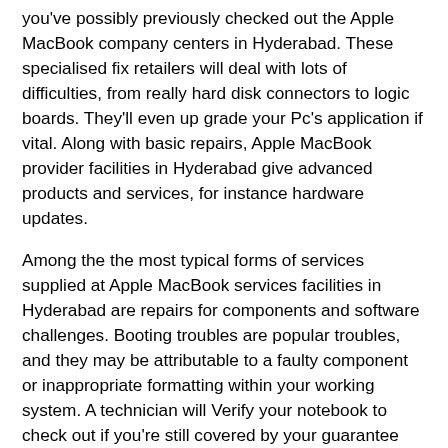you've possibly previously checked out the Apple MacBook company centers in Hyderabad. These specialised fix retailers will deal with lots of difficulties, from really hard disk connectors to logic boards. They'll even up grade your Pc's application if vital. Along with basic repairs, Apple MacBook provider facilities in Hyderabad give advanced products and services, for instance hardware updates.
Among the the most typical forms of services supplied at Apple MacBook services facilities in Hyderabad are repairs for components and software challenges. Booting troubles are popular troubles, and they may be attributable to a faulty component or inappropriate formatting within your working system. A technician will Verify your notebook to check out if you're still covered by your guarantee and offer an acceptable Alternative. In some cases, the technician will swap each of the notebook's hardware, resulting in a hefty Invoice.
Apple MacBook provider facilities in Bangalore